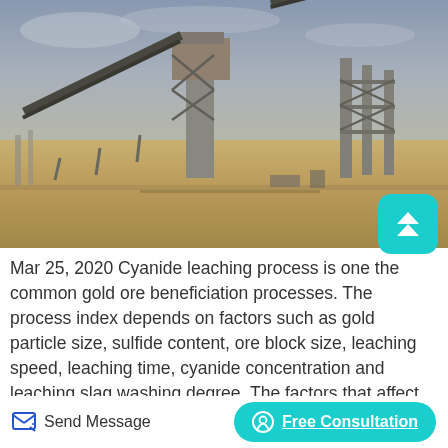[Figure (photo): Industrial mining or ore processing facility with conveyor belts, structural steel frames, and a central tower structure. Sandy/earthy ground visible, overcast sky in background.]
Mar 25, 2020 Cyanide leaching process is one the common gold ore beneficiation processes. The process index depends on factors such as gold particle size, sulfide content, ore block size, leaching speed, leaching time, cyanide concentration and leaching slag washing degree. The factors that affect gold leaching
Send Message | Free Consultation